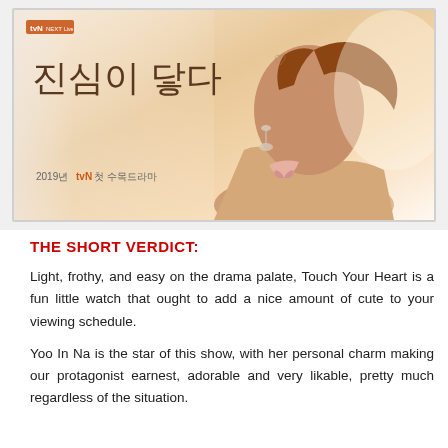[Figure (photo): Promotional poster for Korean drama 'Touch Your Heart' (진심이 닿다), a 2019 tvN Wednesday-Thursday drama. Shows a woman in profile view with auburn hair, wearing a pink top with bow detail, and dangling earrings. Korean title text and tvN logo visible on the left side of the poster.]
THE SHORT VERDICT:
Light, frothy, and easy on the drama palate, Touch Your Heart is a fun little watch that ought to add a nice amount of cute to your viewing schedule.
Yoo In Na is the star of this show, with her personal charm making our protagonist earnest, adorable and very likable, pretty much regardless of the situation.